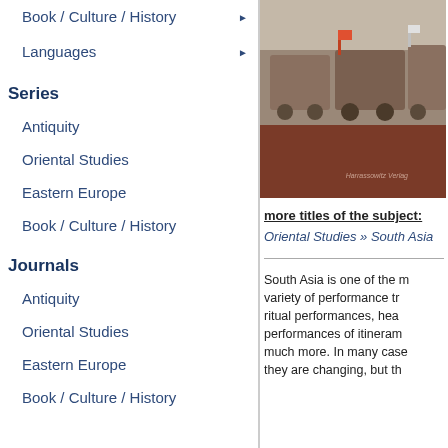Book / Culture / History
Languages
Series
Antiquity
Oriental Studies
Eastern Europe
Book / Culture / History
Journals
Antiquity
Oriental Studies
Eastern Europe
Book / Culture / History
[Figure (photo): Book cover image - brown/rust colored cover with photo of vehicles/trucks]
more titles of the subject:
Oriental Studies » South Asia
South Asia is one of the most culturally diverse regions with a variety of performance traditions including ritual performances, healing ceremonies, performances of itinerant performers, and much more. In many cases they are changing, but th